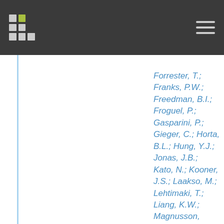Forrester, T.; Franks, P.W.; Freedman, B.I.; Froguel, P.; Gasparini, P.; Gieger, C.; Horta, B.L.; Hung, Y.J.; Jonas, J.B.; Kato, N.; Kooner, J.S.; Laakso, M.; Lehtimaki, T.; Liang, K.W.; Magnusson, P.K.E.; Newman, A.B.; Oldehinkel, A.J.; Pereira, A.C.; Redline, S.; Rettig, R.; Samani, N.J.; Scott, J.; Shu, X.O.; van der Harst, P.; Wagenknecht, L.E.; Wareham, N.J.; Watkins, H.; Weir, D.R.;